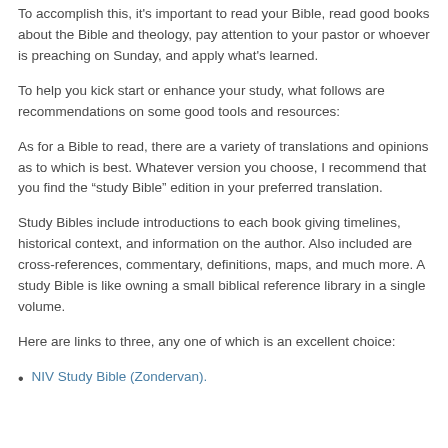To accomplish this, it's important to read your Bible, read good books about the Bible and theology, pay attention to your pastor or whoever is preaching on Sunday, and apply what's learned.
To help you kick start or enhance your study, what follows are recommendations on some good tools and resources:
As for a Bible to read, there are a variety of translations and opinions as to which is best. Whatever version you choose, I recommend that you find the “study Bible” edition in your preferred translation.
Study Bibles include introductions to each book giving timelines, historical context, and information on the author. Also included are cross-references, commentary, definitions, maps, and much more. A study Bible is like owning a small biblical reference library in a single volume.
Here are links to three, any one of which is an excellent choice:
NIV Study Bible (Zondervan).